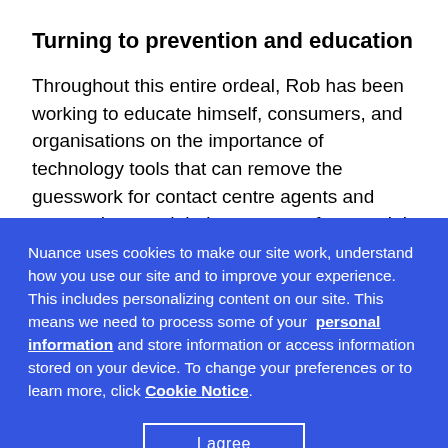Turning to prevention and education
Throughout this entire ordeal, Rob has been working to educate himself, consumers, and organisations on the importance of technology tools that can remove the guesswork for contact centre agents and protect them and their customers from social engineering. He started an organisation to help others called
Nuance uses cookies to make our site work, understand how you use our site and to improve your experience. This includes personalizing content on our site. This means we need to process some of your personal information and store information or access information stored on your device. To change your preferences or to learn more, click Cookie Notice.
I agree